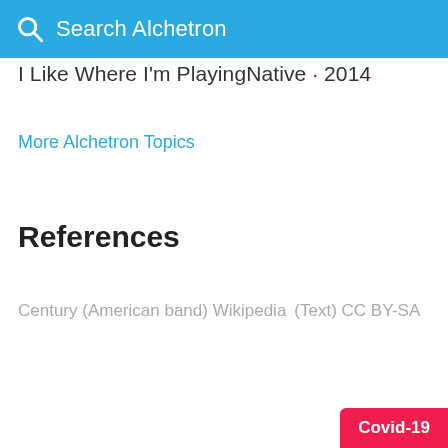Search Alchetron
I Like Where I'm PlayingNative · 2014
More Alchetron Topics
References
Century (American band) Wikipedia  (Text) CC BY-SA
Covid-19